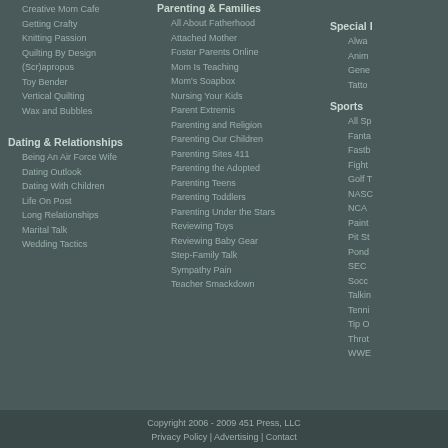Creative Mom Cafe
Getting Crafty
Knitting Passion
Quilting By Design
(Scr)apropos
Toy Bender
Vertical Quilting
Wax and Bubbles
Dating & Relationships
Being An Air Force Wife
Dating Outlook
Dating With Children
Life On Post
Long Relationships
Marital Talk
Wedding Tactics
Parenting & Families
All About Fatherhood
Attached Mother
Foster Parents Online
Mom Is Teaching
Mom's Soapbox
Nursing Your Kids
Parent Extremis
Parenting and Religion
Parenting Our Children
Parenting Sites 411
Parenting the Adopted
Parenting Teens
Parenting Toddlers
Parenting Under the Stars
Reviewing Toys
Reviewing Baby Gear
Step-Family Talk
Sympathy Pain
Teacher Smackdown
Special I...
Alwa...
Anim...
Gene...
Tatto...
Sports
All Sp...
Fanta...
Fastb...
Fight...
Golf T...
NASC...
NCA...
Paintb...
Pit St...
Pond...
SEC...
Socc...
Talkin...
Tenni...
Tip O...
Throt...
WWE...
Copyright 2006 - 2009 451 Press, LLC
Privacy Policy | Advertising | Contact